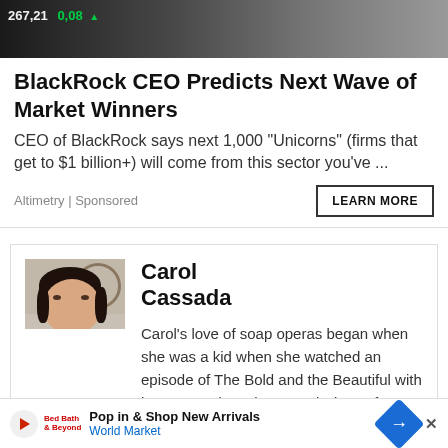[Figure (photo): Stock market ticker overlay showing 267.21 and 0.08 with green arrow, over dark background with partial person silhouette]
BlackRock CEO Predicts Next Wave of Market Winners
CEO of BlackRock says next 1,000 "Unicorns" (firms that get to $1 billion+) will come from this sector you've ...
Altimetry | Sponsored
LEARN MORE
[Figure (photo): Profile photo of Carol Cassada - a woman with dark hair]
Carol Cassada
Carol's love of soap operas began when she was a kid when she watched an episode of The Bold and the Beautiful with her mom. Since then Carol's love of soap opera began
Pop in & Shop New Arrivals
World Market